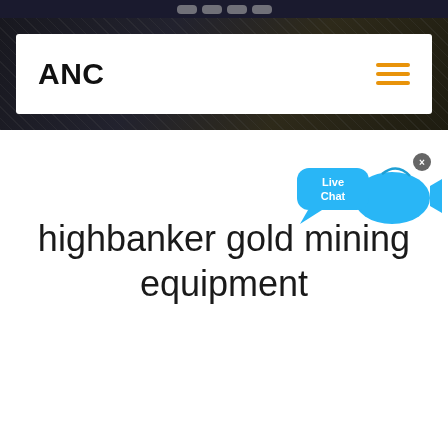ANC
[Figure (logo): ANC logo in bold black text on white navigation card, with orange hamburger menu icon on the right, overlaid on a dark background hero image]
[Figure (other): Live Chat widget - blue speech bubble with 'Live Chat' text and a blue fish/shark icon, with a close X button]
highbanker gold mining equipment